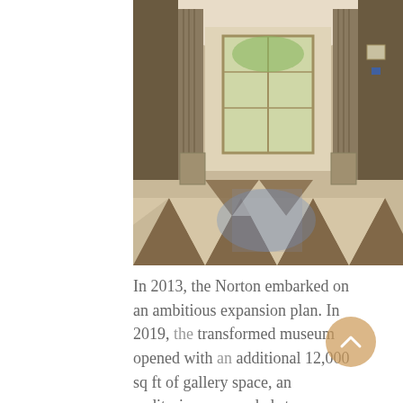[Figure (photo): Interior hallway of the Norton Museum with checkered black and white marble floor, tall fluted columns, and glass doors at the far end letting in natural light.]
In 2013, the Norton embarked on an ambitious expansion plan. In 2019, the transformed museum opened with an additional 12,000 sq ft of gallery space, an auditorium, expanded store, restaurant and an expanded outdoor lawn and sculpture garden.  I have done